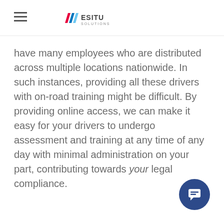Esitu Solutions
have many employees who are distributed across multiple locations nationwide. In such instances, providing all these drivers with on-road training might be difficult. By providing online access, we can make it easy for your drivers to undergo assessment and training at any time of any day with minimal administration on your part, contributing towards your legal compliance.